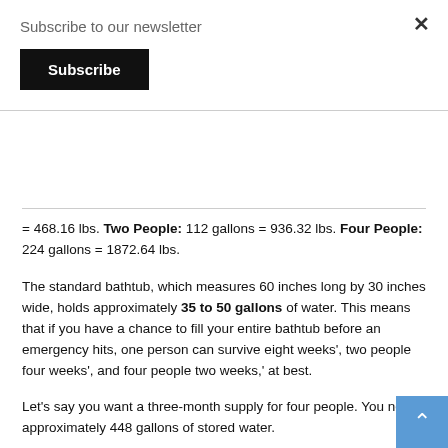Subscribe to our newsletter
Subscribe
= 468.16 lbs. Two People: 112 gallons = 936.32 lbs. Four People: 224 gallons = 1872.64 lbs.
The standard bathtub, which measures 60 inches long by 30 inches wide, holds approximately 35 to 50 gallons of water. This means that if you have a chance to fill your entire bathtub before an emergency hits, one person can survive eight weeks', two people four weeks', and four people two weeks,' at best.
Let's say you want a three-month supply for four people. You need approximately 448 gallons of stored water.
Clearly, storage is great for short-term situations. However, long-term situations will require a permanent water source.
Small Transportable Bug-out Pack Setton